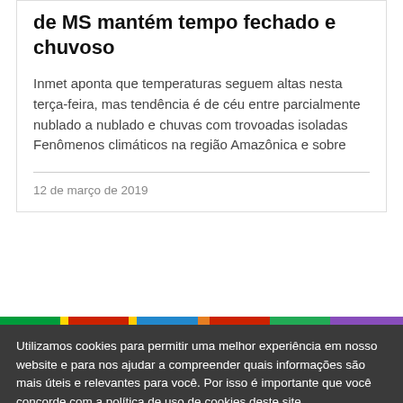de MS mantém tempo fechado e chuvoso
Inmet aponta que temperaturas seguem altas nesta terça-feira, mas tendência é de céu entre parcialmente nublado a nublado e chuvas com trovoadas isoladas Fenômenos climáticos na região Amazônica e sobre
12 de março de 2019
Utilizamos cookies para permitir uma melhor experiência em nosso website e para nos ajudar a compreender quais informações são mais úteis e relevantes para você. Por isso é importante que você concorde com a política de uso de cookies deste site.